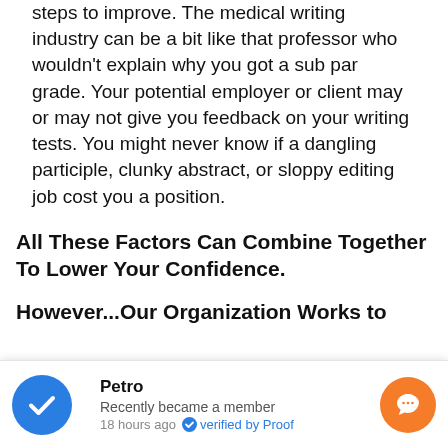steps to improve. The medical writing industry can be a bit like that professor who wouldn't explain why you got a sub par grade. Your potential employer or client may or may not give you feedback on your writing tests. You might never know if a dangling participle, clunky abstract, or sloppy editing job cost you a position.
All These Factors Can Combine Together To Lower Your Confidence.
However...Our Organization Works to
Petro
Recently became a member
18 hours ago · verified by Proof